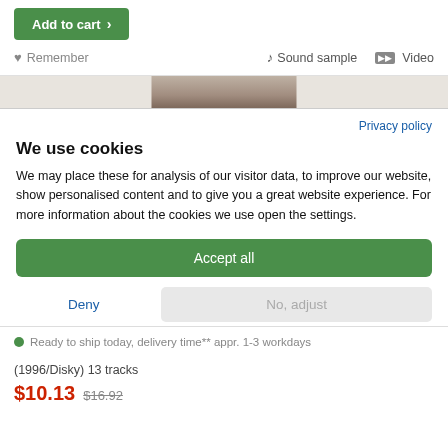Add to cart >
Remember   ♪ Sound sample   ▪ Video
[Figure (photo): Partial image strip showing a product image (album cover) cropped at the top]
Privacy policy
We use cookies
We may place these for analysis of our visitor data, to improve our website, show personalised content and to give you a great website experience. For more information about the cookies we use open the settings.
Accept all
Deny
No, adjust
Ready to ship today, delivery time** appr. 1-3 workdays
(1996/Disky) 13 tracks
$10.13 $16.92